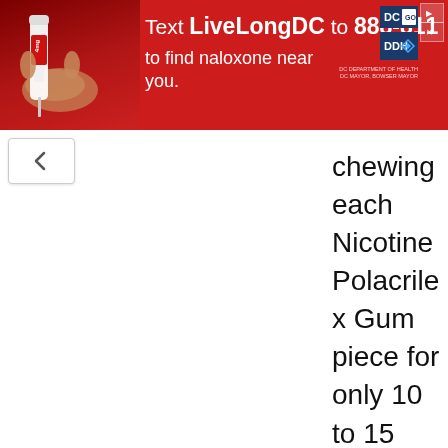[Figure (infographic): Red advertisement banner: 'Text LiveLongDC to 888-811 to find naloxone near you.' with DC and DDH logos, a photo of a naloxone device on the left, and a close button on the right.]
chewing each Nicotine Polacrilex Gum piece for only 10 to 15 minutes, instead of half an